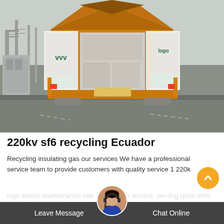[Figure (photo): Rear view of a yellow truck with open side panels displaying banners, parked at an industrial site with power infrastructure in the background.]
220kv sf6 recycling Ecuador
Recycling insulating gas our services We have a professional service team to provide customers with quality service 1 220kv high switch maintenance site 7 * 24-hour service, serving quite 90% of China's national power system power plants and